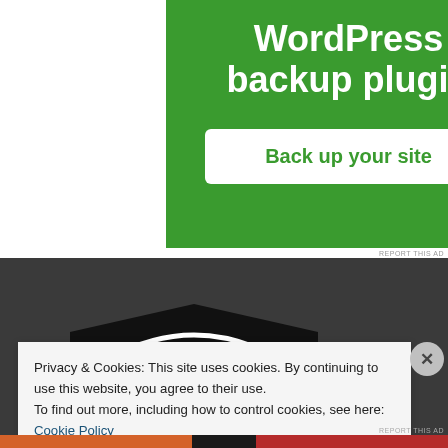[Figure (screenshot): Green advertisement banner for WordPress backup plugin with white button saying 'Back up your site']
REPORT THIS AD
[Figure (screenshot): Dark gray website background with partial logo (black shape with white arc/lines)]
Privacy & Cookies: This site uses cookies. By continuing to use this website, you agree to their use.
To find out more, including how to control cookies, see here: Cookie Policy
Close and accept
REPORT THIS AD